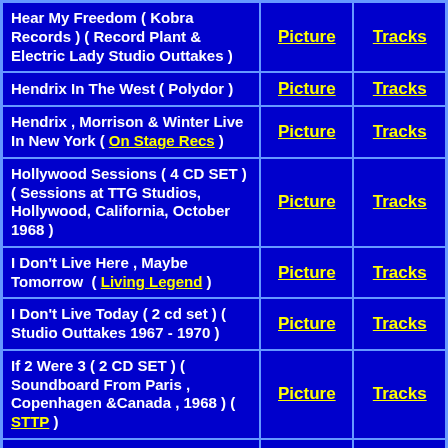| Album | Picture | Tracks |
| --- | --- | --- |
| Hear My Freedom ( Kobra Records ) ( Record Plant & Electric Lady Studio Outtakes ) | Picture | Tracks |
| Hendrix In The West ( Polydor ) | Picture | Tracks |
| Hendrix , Morrison & Winter Live In New York ( On Stage Recs ) | Picture | Tracks |
| Hollywood Sessions ( 4 CD SET ) ( Sessions at TTG Studios, Hollywood, California, October 1968 ) | Picture | Tracks |
| I Don't Live Here , Maybe Tomorrow  ( Living Legend ) | Picture | Tracks |
| I Don't Live Today ( 2 cd set ) ( Studio Outtakes 1967 - 1970 ) | Picture | Tracks |
| If 2 Were 3 ( 2 CD SET ) ( Soundboard From Paris , Copenhagen &Canada , 1968 ) ( STTP ) | Picture | Tracks |
| In Europe 67-68-69  ( 2 CD ) ( | Picture | Tracks |